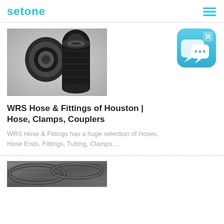setone
[Figure (photo): Two black rubber hoses/tubes of different sizes on a gray gradient background]
WRS Hose & Fittings of Houston | Hose, Clamps, Couplers
WRS Hose & Fittings has a huge selection of Hoses, Hose Ends, Fittings, Tubing, Clamps,...
[Figure (illustration): Blue rounded square chat/messaging icon with white speech bubble icons]
[Figure (photo): Partial view of gray industrial hoses coiled or stacked, visible at bottom of page]